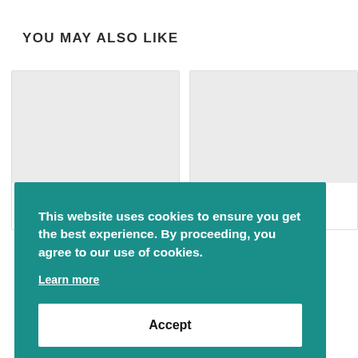YOU MAY ALSO LIKE
[Figure (other): Two placeholder product/article cards with grey image areas]
This website uses cookies to ensure you get the best experience. By proceeding, you agree to our use of cookies.
Learn more
Accept